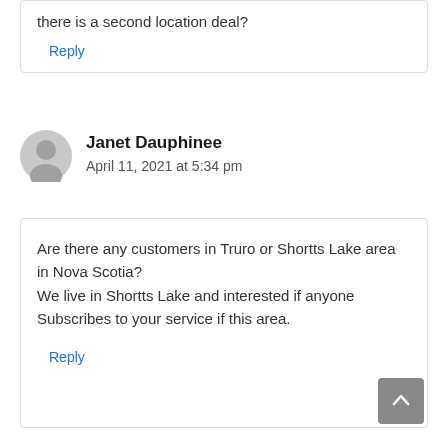there is a second location deal?
Reply
Janet Dauphinee
April 11, 2021 at 5:34 pm
Are there any customers in Truro or Shortts Lake area in Nova Scotia?
We live in Shortts Lake and interested if anyone Subscribes to your service if this area.
Reply